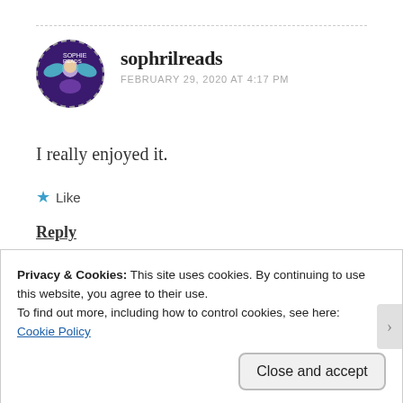sophrilreads
FEBRUARY 29, 2020 AT 4:17 PM
I really enjoyed it.
Like
Reply
Privacy & Cookies: This site uses cookies. By continuing to use this website, you agree to their use.
To find out more, including how to control cookies, see here:
Cookie Policy
Close and accept